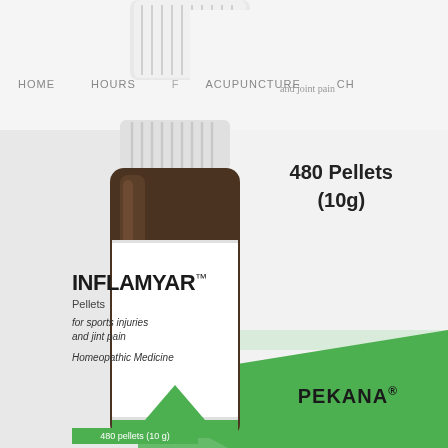HOME    HOURS    ACUPUNCTURE    CH
and joint pain
[Figure (photo): Product photo of INFLAMYAR Pellets homeopathic medicine bottle (amber glass, 480 pellets / 10g) with white cap and label showing brand name INFLAMYAR, 'Pellets', 'for sports injuries and joint pain', 'Homeopathic Medicine', and a green triangle graphic at the bottom. Behind it is a white and green product box labeled '480 Pellets (10g)' and 'PEKANA' brand.]